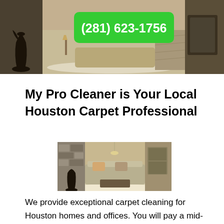[Figure (photo): Interior room photo banner with green phone number button overlay showing (281) 623-1756]
My Pro Cleaner is Your Local Houston Carpet Professional
[Figure (photo): Interior living room photo with sofa, rug, fireplace, and kitchen in background]
We provide exceptional carpet cleaning for Houston homes and offices. You will pay a mid-range price for our above average